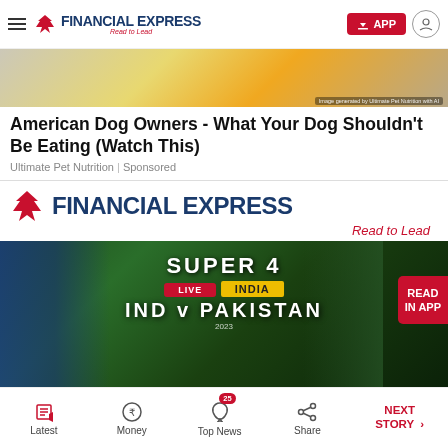FINANCIAL EXPRESS — Read to Lead
[Figure (photo): Blurry product image of food/supplements — ad image strip for Ultimate Pet Nutrition]
American Dog Owners - What Your Dog Shouldn't Be Eating (Watch This)
Ultimate Pet Nutrition | Sponsored
[Figure (logo): Financial Express logo with tagline 'Read to Lead']
[Figure (photo): Cricket match promotion banner — SUPER 4, LIVE, India vs Pakistan match graphic with READ IN APP button]
Latest | Money | Top News (25) | Share | NEXT STORY →